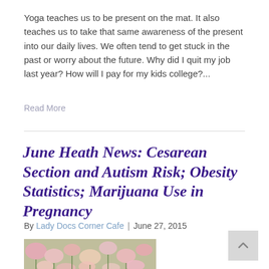Yoga teaches us to be present on the mat. It also teaches us to take that same awareness of the present into our daily lives. We often tend to get stuck in the past or worry about the future. Why did I quit my job last year? How will I pay for my kids college?...
Read More
June Heath News: Cesarean Section and Autism Risk; Obesity Statistics; Marijuana Use in Pregnancy
By Lady Docs Corner Cafe | June 27, 2015
[Figure (photo): Close-up photograph of pink and white flowers, possibly heather or similar small blossoms on green stems.]